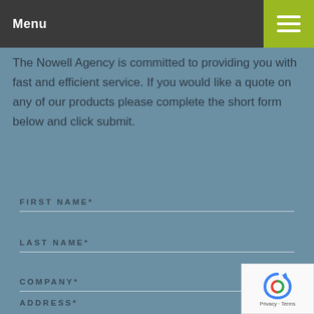Menu
The Nowell Agency is committed to providing you with fast and efficient service. If you would like a quote on any of our products please complete the short form below and click submit.
FIRST NAME*
LAST NAME*
COMPANY*
ADDRESS*